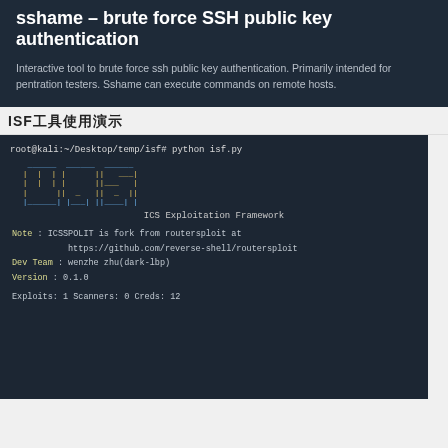sshame – brute force SSH public key authentication
Interactive tool to brute force ssh public key authentication. Primarily intended for pentration testers. Sshame can execute commands on remote hosts.
ISF工具使用演示
[Figure (screenshot): Terminal screenshot showing ISF (ICS Exploitation Framework) tool being run with 'python isf.py', displaying ASCII art logo and tool info including Note, Dev Team, Version, Exploits, Scanners, Creds.]